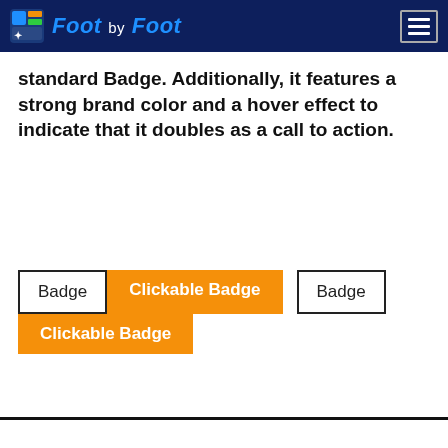Foot by Foot
standard Badge. Additionally, it features a strong brand color and a hover effect to indicate that it doubles as a call to action.
[Figure (screenshot): UI component examples showing Badge and Clickable Badge elements. Row 1: 'Badge' (outlined box), 'Clickable Badge' (orange filled), 'Badge' (outlined box). Row 2: 'Clickable Badge' (orange filled).]